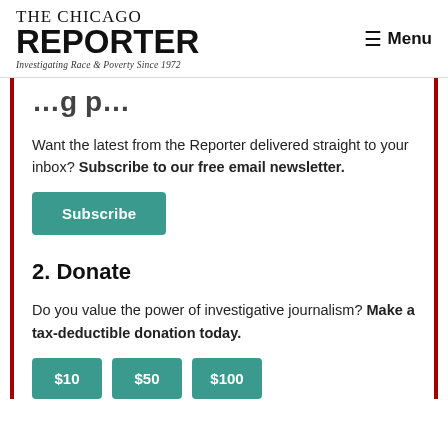THE CHICAGO REPORTER — Investigating Race & Poverty Since 1972
…g p… (partial heading, cut off)
Want the latest from the Reporter delivered straight to your inbox? Subscribe to our free email newsletter.
Subscribe
2. Donate
Do you value the power of investigative journalism? Make a tax-deductible donation today.
$10  $50  $100